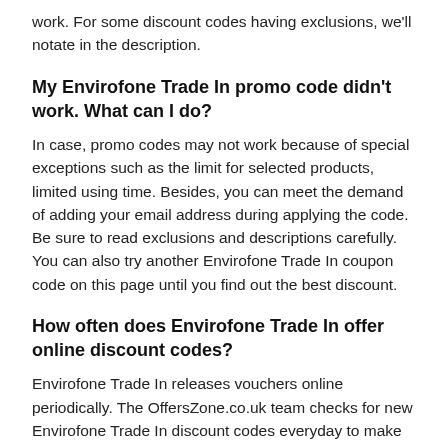work. For some discount codes having exclusions, we'll notate in the description.
My Envirofone Trade In promo code didn't work. What can I do?
In case, promo codes may not work because of special exceptions such as the limit for selected products, limited using time. Besides, you can meet the demand of adding your email address during applying the code. Be sure to read exclusions and descriptions carefully. You can also try another Envirofone Trade In coupon code on this page until you find out the best discount.
How often does Envirofone Trade In offer online discount codes?
Envirofone Trade In releases vouchers online periodically. The OffersZone.co.uk team checks for new Envirofone Trade In discount codes everyday to make sure all of them are up to date. Be sure to stop by this page so often to look for the latest discount code and the best saving on your orders.
What's today's best Envirofone Trade In voucher?